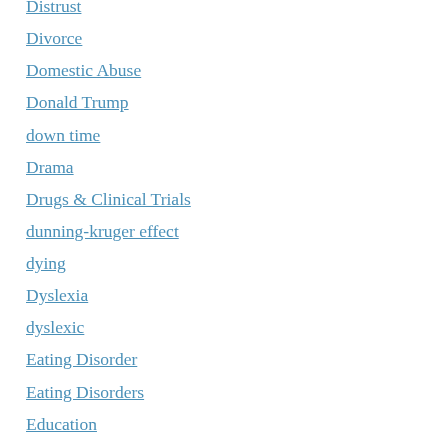Distrust
Divorce
Domestic Abuse
Donald Trump
down time
Drama
Drugs & Clinical Trials
dunning-kruger effect
dying
Dyslexia
dyslexic
Eating Disorder
Eating Disorders
Education
educational attainment
educational experiences